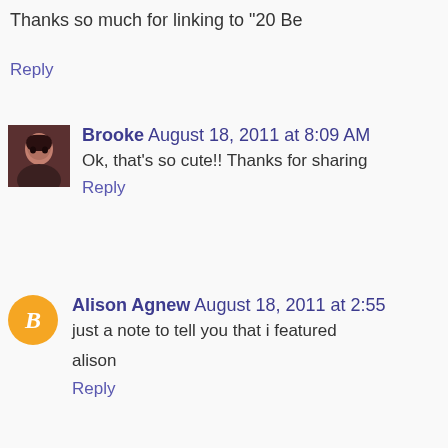Thanks so much for linking to "20 Be
Reply
Brooke August 18, 2011 at 8:09 AM
Ok, that's so cute!! Thanks for sharing
Reply
Alison Agnew August 18, 2011 at 2:55
just a note to tell you that i featured
alison
Reply